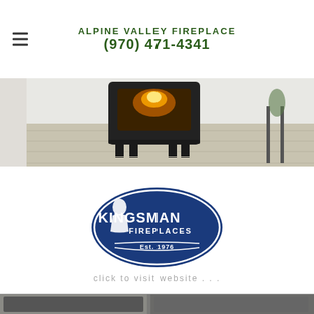ALPINE VALLEY FIREPLACE (970) 471-4341
[Figure (photo): Photo of a black cast iron wood stove on a light wood floor with a white brick wall background]
[Figure (logo): Kingsman Fireplaces logo - dark blue oval with white text reading KINGSMAN FIREPLACES Est. 1976 and a figure icon]
click to visit website . . .
[Figure (photo): Partial bottom strip showing another fireplace photo, cropped]